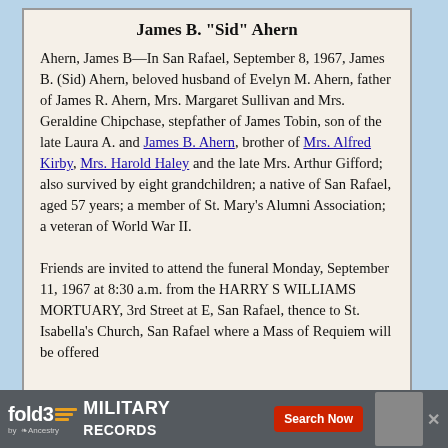James B. "Sid" Ahern
Ahern, James B—In San Rafael, September 8, 1967, James B. (Sid) Ahern, beloved husband of Evelyn M. Ahern, father of James R. Ahern, Mrs. Margaret Sullivan and Mrs. Geraldine Chipchase, stepfather of James Tobin, son of the late Laura A. and James B. Ahern, brother of Mrs. Alfred Kirby, Mrs. Harold Haley and the late Mrs. Arthur Gifford; also survived by eight grandchildren; a native of San Rafael, aged 57 years; a member of St. Mary's Alumni Association; a veteran of World War II.

Friends are invited to attend the funeral Monday, September 11, 1967 at 8:30 a.m. from the HARRY S WILLIAMS MORTUARY, 3rd Street at E, San Rafael, thence to St. Isabella's Church, San Rafael where a Mass of Requiem will be offered